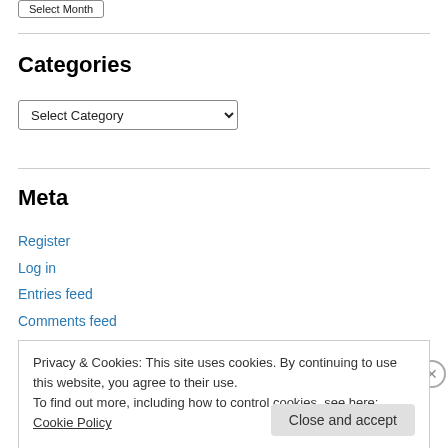Categories
Select Category
Meta
Register
Log in
Entries feed
Comments feed
Privacy & Cookies: This site uses cookies. By continuing to use this website, you agree to their use. To find out more, including how to control cookies, see here: Cookie Policy